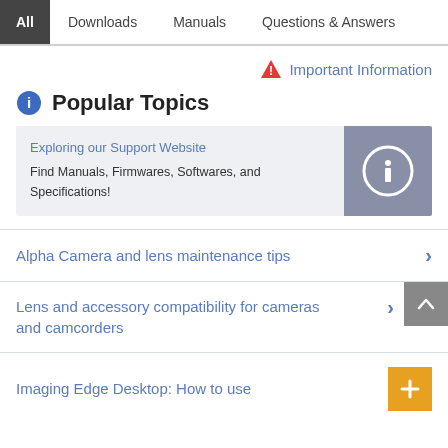All | Downloads | Manuals | Questions & Answers
Important Information
Popular Topics
Exploring our Support Website
Find Manuals, Firmwares, Softwares, and Specifications!
Alpha Camera and lens maintenance tips
Lens and accessory compatibility for cameras and camcorders
Imaging Edge Desktop: How to use